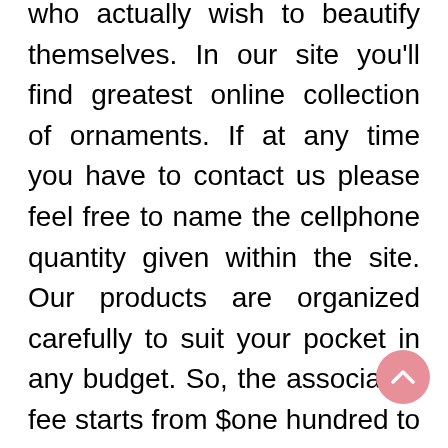who actually wish to beautify themselves. In our site you'll find greatest online collection of ornaments. If at any time you have to contact us please feel free to name the cellphone quantity given within the site. Our products are organized carefully to suit your pocket in any budget. So, the associated fee starts from $one hundred to any range upwards.
Girls find these Helium Latex Balloons very endearing. They type of relate with all these toon characters whom they have grown up watching and fantasizing about. They find them very benevolent, envisaging themselves